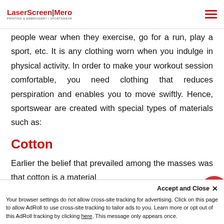LaserScreen|Mero PRINTING & EMBROIDERY | SPORTSWEAR
people wear when they exercise, go for a run, play a sport, etc. It is any clothing worn when you indulge in physical activity. In order to make your workout session comfortable, you need clothing that reduces perspiration and enables you to move swiftly. Hence, sportswear are created with special types of materials such as:
Cotton
Earlier the belief that prevailed among the masses was that cotton is a material
Accept and Close ×
Your browser settings do not allow cross-site tracking for advertising. Click on this page to allow AdRoll to use cross-site tracking to tailor ads to you. Learn more or opt out of this AdRoll tracking by clicking here. This message only appears once.